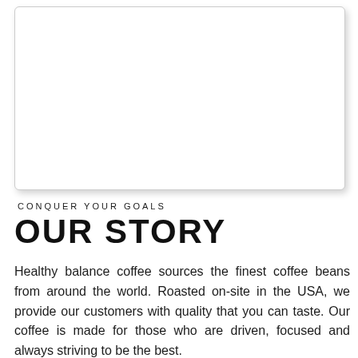[Figure (photo): White blank image placeholder with rounded corners and drop shadow]
CONQUER YOUR GOALS
OUR STORY
Healthy balance coffee sources the finest coffee beans from around the world. Roasted on-site in the USA, we provide our customers with quality that you can taste. Our coffee is made for those who are driven, focused and always striving to be the best.